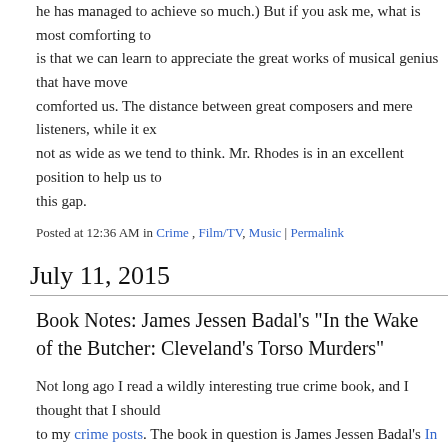he has managed to achieve so much.) But if you ask me, what is most comforting to is that we can learn to appreciate the great works of musical genius that have moved comforted us. The distance between great composers and mere listeners, while it ex not as wide as we tend to think. Mr. Rhodes is in an excellent position to help us to this gap.
Posted at 12:36 AM in Crime, Film/TV, Music | Permalink
July 11, 2015
Book Notes: James Jessen Badal's "In the Wake of the Butcher: Cleveland's Torso Murders"
Not long ago I read a wildly interesting true crime book, and I thought that I should to my crime posts. The book in question is James Jessen Badal's In the Wake of the Butcher: Cleveland's Torso Murders.
But, first, some photographs to get you started. Here are the cover and the title page
[Figure (photo): Book cover of 'In the Wake of the Butcher: Cleveland's Torso Murders' with pink/red background and yellow title text, and an open book showing the title page.]